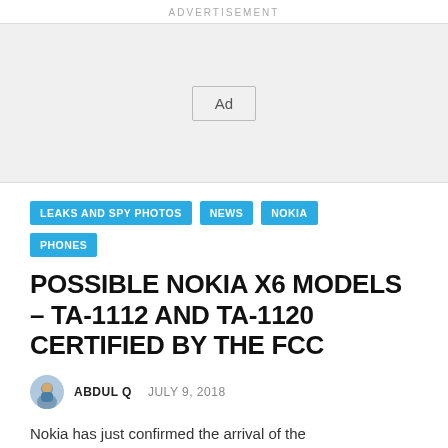ADVERTISEMENT
[Figure (other): Advertisement placeholder box with 'Ad' label]
LEAKS AND SPY PHOTOS
NEWS
NOKIA
PHONES
POSSIBLE NOKIA X6 MODELS – TA-1112 AND TA-1120 CERTIFIED BY THE FCC
ABDUL Q   JULY 9, 2018
Nokia has just confirmed the arrival of the